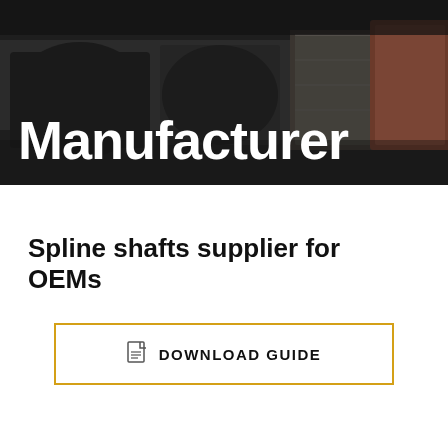[Figure (photo): Industrial machinery photo — dark metal rollers or shafts in a manufacturing setting, used as hero background image]
Manufacturer
Spline shafts supplier for OEMs
DOWNLOAD GUIDE